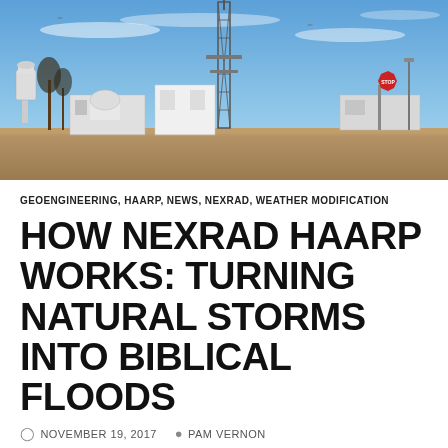[Figure (photo): Outdoor photograph of a weather research facility with a tall lattice transmission tower in the center, white buildings, a water tower on the left, bare winter trees, and a blue sky with thin clouds.]
GEOENGINEERING, HAARP, NEWS, NEXRAD, WEATHER MODIFICATION
HOW NEXRAD HAARP WORKS: TURNING NATURAL STORMS INTO BIBLICAL FLOODS
NOVEMBER 19, 2017   PAM VERNON
[Figure (screenshot): Video thumbnail showing a circular badge with '101' text, and the title 'How Nexrad HAARP Works: Turning ...' with 'Radar data projected onto' as subtitle text.]